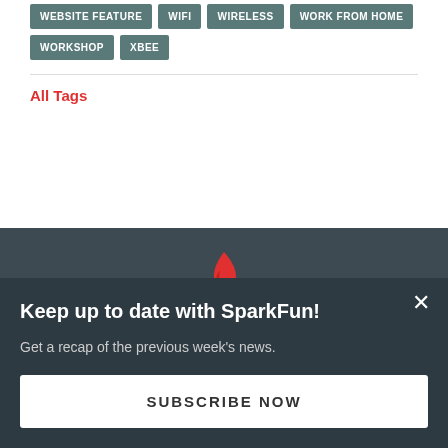WEBSITE FEATURE
WIFI
WIRELESS
WORK FROM HOME
WORKSHOP
XBEE
All Tags
[Figure (logo): SparkFun red flame logo]
STAY IN TOUCH WITH US
Email address
Keep up to date with SparkFun!
Get a recap of the previous week's news.
SUBSCRIBE NOW